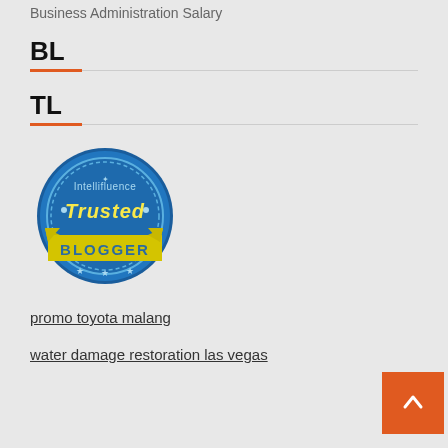Business Administration Salary
BL
TL
[Figure (logo): Intellifluence Trusted Blogger badge - circular blue badge with yellow banner reading BLOGGER]
promo toyota malang
water damage restoration las vegas